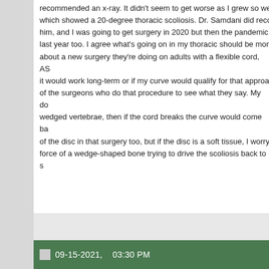recommended an x-ray. It didn't seem to get worse as I grew so we, which showed a 20-degree thoracic scoliosis. Dr. Samdani did reco him, and I was going to get surgery in 2020 but then the pandemic last year too. I agree what's going on in my thoracic should be mor about a new surgery they're doing on adults with a flexible cord, AS it would work long-term or if my curve would qualify for that approa of the surgeons who do that procedure to see what they say. My do wedged vertebrae, then if the cord breaks the curve would come ba of the disc in that surgery too, but if the disc is a soft tissue, I worry force of a wedge-shaped bone trying to drive the scoliosis back to s
09-15-2021, 03:30 PM
titaniumed
Registered User
Originally Posted by Spine_James

I'm still under my parents' insurance, which I believe would debating whether I should get surgery now while that's the c to get surgery at some point, which I'm not certain about eit.
Even though a lot of us have the clock running, having "elective" so you get done to get done as an adult. You don't run into it...... You h your upper thoracic first, that T7 level, and then see what the surro